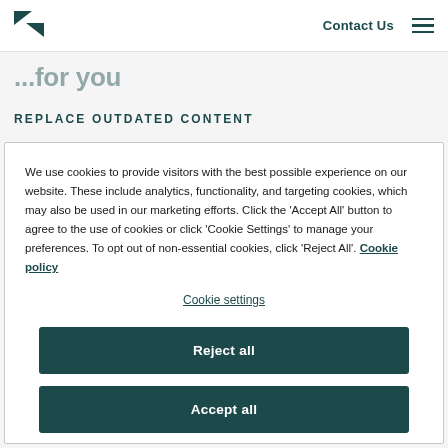Contact Us
REPLACE OUTDATED CONTENT
We use cookies to provide visitors with the best possible experience on our website. These include analytics, functionality, and targeting cookies, which may also be used in our marketing efforts. Click the 'Accept All' button to agree to the use of cookies or click 'Cookie Settings' to manage your preferences. To opt out of non-essential cookies, click 'Reject All'. Cookie policy
Cookie settings
Reject all
Accept all